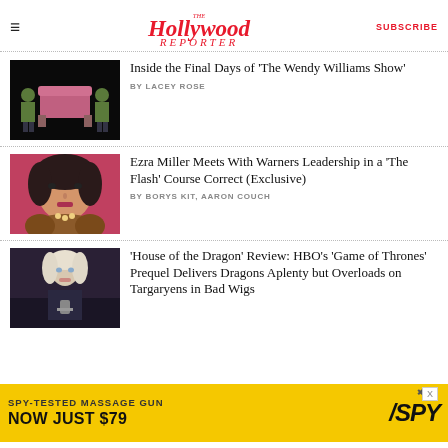The Hollywood Reporter | SUBSCRIBE
Inside the Final Days of 'The Wendy Williams Show'
BY LACEY ROSE
Ezra Miller Meets With Warners Leadership in a 'The Flash' Course Correct (Exclusive)
BY BORYS KIT, AARON COUCH
'House of the Dragon' Review: HBO's 'Game of Thrones' Prequel Delivers Dragons Aplenty but Overloads on Targaryens in Bad Wigs
[Figure (other): Advertisement banner: SPY-TESTED MASSAGE GUN NOW JUST $79 with SPY logo on yellow background]